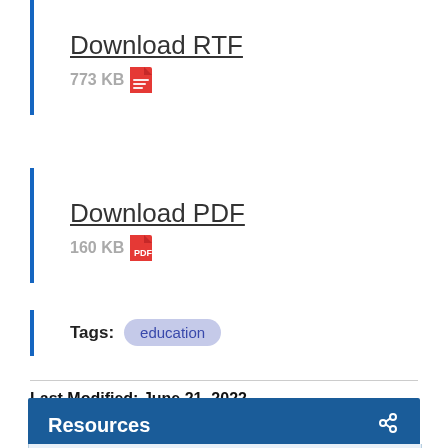Download RTF
773 KB
Download PDF
160 KB
Tags: education
Last Modified: June 21, 2022
Resources